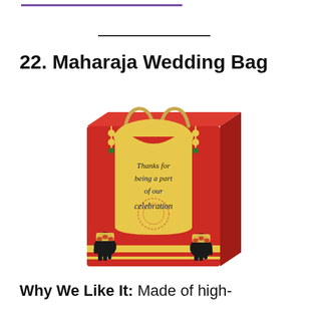22. Maharaja Wedding Bag
[Figure (photo): A red and gold Maharaja-themed wedding gift bag with decorative elephants and the text 'Thanks for being a part of our celebration' inside a golden arch motif.]
Why We Like It: Made of high-